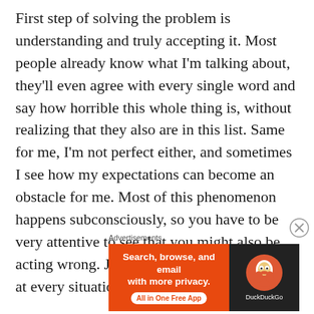First step of solving the problem is understanding and truly accepting it. Most people already know what I'm talking about, they'll even agree with every single word and say how horrible this whole thing is, without realizing that they also are in this list. Same for me, I'm not perfect either, and sometimes I see how my expectations can become an obstacle for me. Most of this phenomenon happens subconsciously, so you have to be very attentive to see that you might also be acting wrong. Just broaden your mind, look at every situation
Advertisements
[Figure (other): DuckDuckGo advertisement banner with orange left panel reading 'Search, browse, and email with more privacy. All in One Free App' and dark right panel with DuckDuckGo duck logo and brand name.]